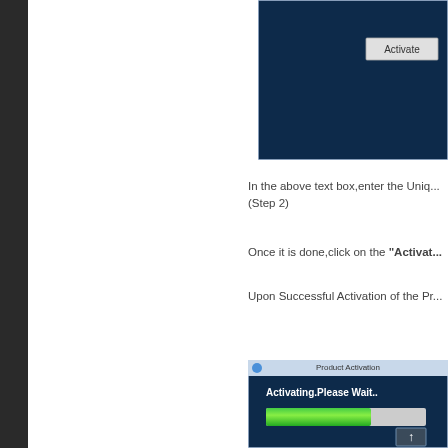[Figure (screenshot): Partial screenshot of a product activation dialog window with dark navy background showing an 'Activate' button on the right side]
In the above text box,enter the Unique... (Step 2)
Once it is done,click on the "Activate...
Upon Successful Activation of the Pr...
[Figure (screenshot): Screenshot of Product Activation dialog showing 'Activating.Please Wait..' message with a green progress bar partially filled, on dark navy background, and an up-arrow button at bottom right]